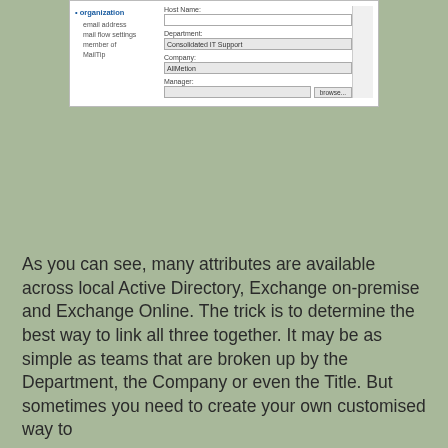[Figure (screenshot): A partial screenshot of a user interface form showing organization fields including email address, mail flow settings, member of, MailTip labels on the left (in blue), and on the right: Host Name input field, Department field filled with 'Consolidated IT Support', Company field filled with 'AllMetion', and Manager field with a Browse button.]
As you can see, many attributes are available across local Active Directory, Exchange on-premise and Exchange Online. The trick is to determine the best way to link all three together. It may be as simple as teams that are broken up by the Department, the Company or even the Title. But sometimes you need to create your own customised way to